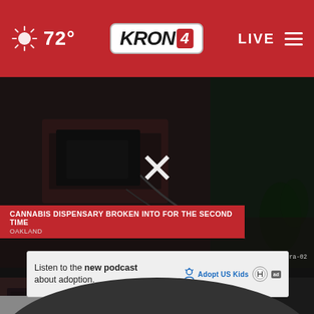72° KRON 4 LIVE
[Figure (screenshot): Security camera footage of a cannabis dispensary break-in, showing interior damage from overhead angle. A large white X is overlaid on the video. Red banner reads: CANNABIS DISPENSARY BROKEN INTO FOR THE SECOND TIME / OAKLAND. IPCamera-02 watermark visible.]
[Figure (screenshot): Thumbnail video: Oakland dispensary broken into for second time. Shows security camera footage with play button.]
Oakland dispensary broken into for secon...
17 hours ago
[Figure (screenshot): Thumbnail video: Police respond to multiple weekend. Shows street scene with play button.]
Police respond to multiple weekend.
18 hours ago
[Figure (screenshot): Thumbnail video: Sidesh... (partially visible). Shows building exterior with play button.]
Sidesh...
Listen to the new podcast about adoption.
More videos ›